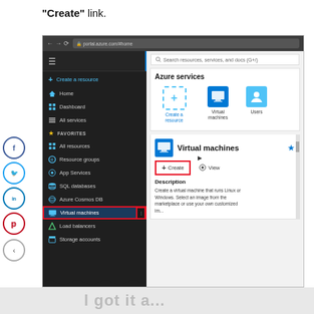"Create" link.
[Figure (screenshot): Azure portal screenshot showing the left navigation sidebar with 'Virtual machines' highlighted, and the right panel showing Azure services including Create a resource, Virtual machines, Users icons. A 'Virtual machines' detail card is shown with a 'Create' button outlined in red and a 'View' button. Description text: 'Create a virtual machine that runs Linux or Windows. Select an image from the marketplace or use your own customized im...']